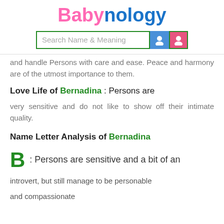Babynology
[Figure (screenshot): Search Name & Meaning input bar with blue boy icon and pink girl icon]
and handle Persons with care and ease. Peace and harmony are of the utmost importance to them.
Love Life of Bernadina : Persons are very sensitive and do not like to show off their intimate quality.
Name Letter Analysis of Bernadina
B : Persons are sensitive and a bit of an introvert, but still manage to be personable and compassionate